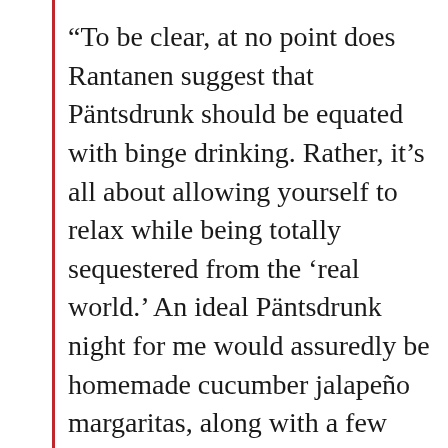“To be clear, at no point does Rantanen suggest that Päntsdrunk should be equated with binge drinking. Rather, it’s all about allowing yourself to relax while being totally sequestered from the ‘real world.’ An ideal Päntsdrunk night for me would assuredly be homemade cucumber jalapeño margaritas, along with a few seasons of Girls, a face mask or two, followed by a bedtime of 9 p.m. sharp......It allows everyone to